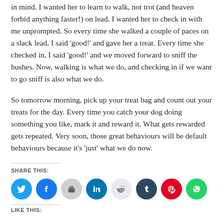in mind. I wanted her to learn to walk, not trot (and heaven forbid anything faster!) on lead. I wanted her to check in with me unprompted. So every time she walked a couple of paces on a slack lead, I said 'good!' and gave her a treat. Every time she checked in, I said 'good!' and we moved forward to sniff the bushes. Now, walking is what we do, and checking in if we want to go sniff is also what we do.
So tomorrow morning, pick up your treat bag and count out your treats for the day. Every time you catch your dog doing something you like, mark it and reward it. What gets rewarded gets repeated. Very soon, those great behaviours will be default behaviours because it’s ‘just’ what we do now.
SHARE THIS:
[Figure (infographic): Social media share icons: Twitter (blue), Facebook (blue), Print (grey), LinkedIn (dark teal), Reddit (light grey), Tumblr (dark navy), Pinterest (red), WhatsApp (green)]